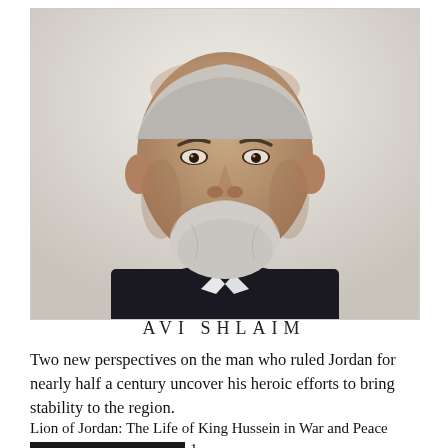[Figure (photo): Portrait photo of Avi Shlaim, an older man with grey-white beard and mustache, wearing a dark suit with a blue tie, against a light background.]
AVI SHLAIM
Two new perspectives on the man who ruled Jordan for nearly half a century uncover his heroic efforts to bring stability to the region.
Lion of Jordan: The Life of King Hussein in War and Peace [REDACTED] -1-1888-[REDACTED]